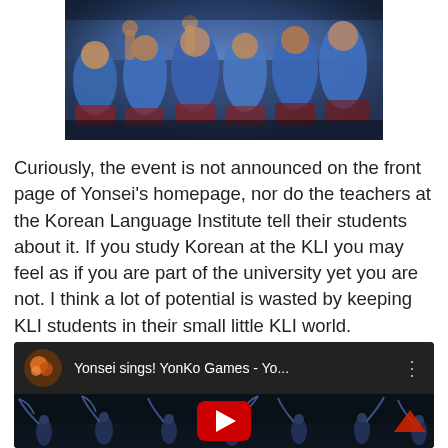[Figure (photo): Crowd of people wearing blue shirts seated in an auditorium or stadium, photographed from behind at an angle, dark atmospheric lighting]
Curiously, the event is not announced on the front page of Yonsei's homepage, nor do the teachers at the Korean Language Institute tell their students about it. If you study Korean at the KLI you may feel as if you are part of the university yet you are not. I think a lot of potential is wasted by keeping KLI students in their small little KLI world.
[Figure (screenshot): YouTube video thumbnail showing 'Yonsei sings! YonKo Games - Yo...' with a circular avatar image, video title bar, and a play button over a dark background showing flag performers/dancers]